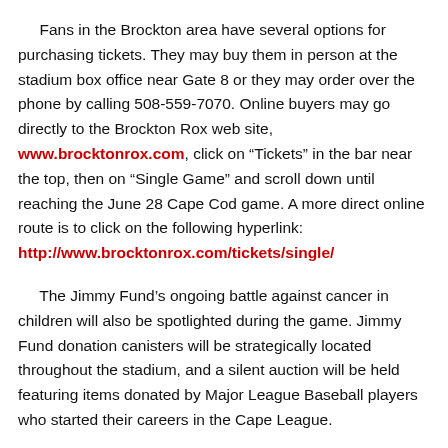Fans in the Brockton area have several options for purchasing tickets. They may buy them in person at the stadium box office near Gate 8 or they may order over the phone by calling 508-559-7070. Online buyers may go directly to the Brockton Rox web site, www.brocktonrox.com, click on “Tickets” in the bar near the top, then on “Single Game” and scroll down until reaching the June 28 Cape Cod game. A more direct online route is to click on the following hyperlink: http://www.brocktonrox.com/tickets/single/
The Jimmy Fund’s ongoing battle against cancer in children will also be spotlighted during the game. Jimmy Fund donation canisters will be strategically located throughout the stadium, and a silent auction will be held featuring items donated by Major League Baseball players who started their careers in the Cape League.